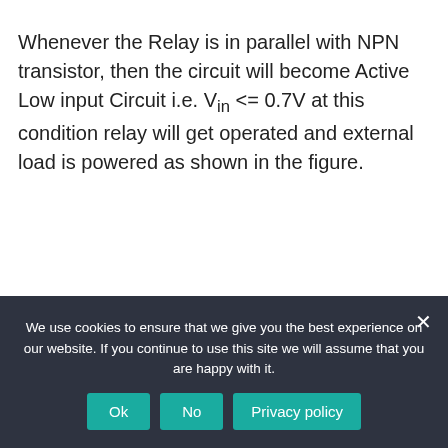Whenever the Relay is in parallel with NPN transistor, then the circuit will become Active Low input Circuit i.e. Vin <= 0.7V at this condition relay will get operated and external load is powered as shown in the figure.
We use cookies to ensure that we give you the best experience on our website. If you continue to use this site we will assume that you are happy with it.